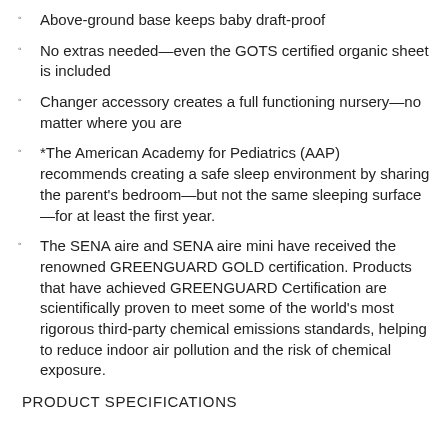Above-ground base keeps baby draft-proof
No extras needed—even the GOTS certified organic sheet is included
Changer accessory creates a full functioning nursery—no matter where you are
*The American Academy for Pediatrics (AAP) recommends creating a safe sleep environment by sharing the parent's bedroom—but not the same sleeping surface—for at least the first year.
The SENA aire and SENA aire mini have received the renowned GREENGUARD GOLD certification. Products that have achieved GREENGUARD Certification are scientifically proven to meet some of the world's most rigorous third-party chemical emissions standards, helping to reduce indoor air pollution and the risk of chemical exposure.
PRODUCT SPECIFICATIONS